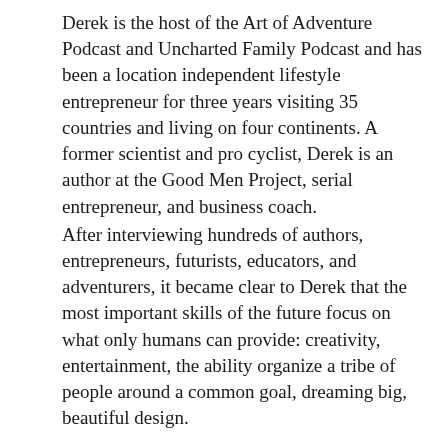Derek is the host of the Art of Adventure Podcast and Uncharted Family Podcast and has been a location independent lifestyle entrepreneur for three years visiting 35 countries and living on four continents. A former scientist and pro cyclist, Derek is an author at the Good Men Project, serial entrepreneur, and business coach.
After interviewing hundreds of authors, entrepreneurs, futurists, educators, and adventurers, it became clear to Derek that the most important skills of the future focus on what only humans can provide: creativity, entertainment, the ability organize a tribe of people around a common goal, dreaming big, beautiful design.
Read more
Profile verified
4701 followers
http://DerekLoudermilk.com
View profile